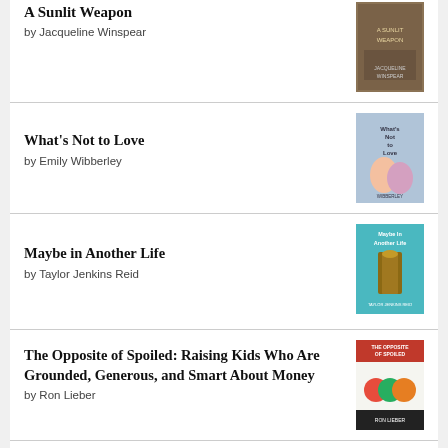A Sunlit Weapon by Jacqueline Winspear
What's Not to Love by Emily Wibberley
Maybe in Another Life by Taylor Jenkins Reid
The Opposite of Spoiled: Raising Kids Who Are Grounded, Generous, and Smart About Money by Ron Lieber
The Storyteller: Tales of Life and Music by Dave Grohl